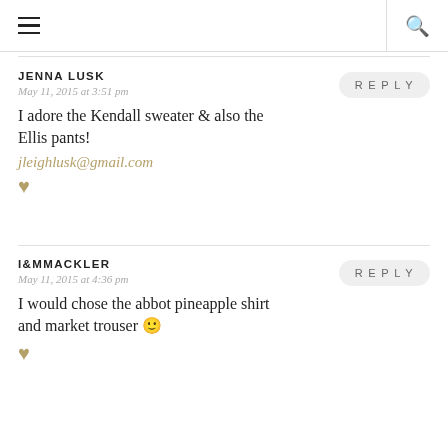≡ Q
JENNA LUSK
May 11, 2015 at 3:51 pm
I adore the Kendall sweater & also the Ellis pants!
jleighlusk@gmail.com
♥
I&MMACKLER
May 11, 2015 at 4:36 pm
I would chose the abbot pineapple shirt and market trouser 🙂
♥